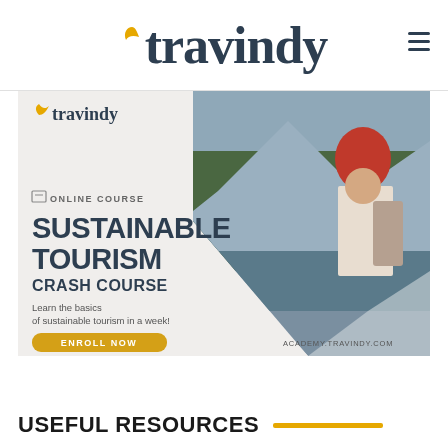[Figure (logo): Travindy logo with leaf icon and hamburger menu]
[Figure (infographic): Travindy academy ad banner for Sustainable Tourism Crash Course online course. Shows woman with red hat and backpack. Text: ONLINE COURSE, SUSTAINABLE TOURISM CRASH COURSE, Learn the basics of sustainable tourism in a week!, ENROLL NOW button, ACADEMY.TRAVINDY.COM]
USEFUL RESOURCES